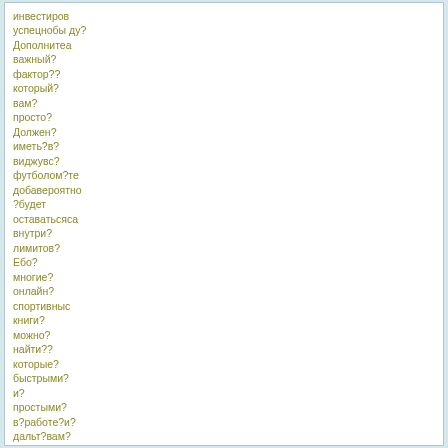&#1080;&#1085;&#1074;&#1077;&#1089;&#1090;&#1080;&#1088;&#1086;&#1074;&#1072;&#1090;&#1100;&#1089;&#1103; &#1074;&#1077;&#1088;&#1085;&#1091;&#1090;&#1100;&#1089;&#1103; &#1076;&#1091;? &#1044;&#1086;&#1087;&#1086;&#1083;&#1085;&#1080;&#1090;&#1077; &#1074;&#1072;&#1078;&#1085;&#1099;&#1081;? &#1092;&#1072;&#1082;&#1090;&#1086;&#1088;?? &#1082;&#1086;&#1090;&#1086;&#1088;&#1099;&#1081;? &#1074;&#1072;&#1084;? &#1087;&#1088;&#1086;&#1089;&#1090;&#1086;? &#1044;&#1086;&#1083;&#1078;&#1077;&#1085;? &#1080;&#1084;&#1077;&#1090;&#1100;?&#1074;? &#1074;&#1080;&#1076;&#1078;&#1091;&#1074;&#1089;? &#1092;&#1091;&#1090;&#1073;&#1086;&#1083;&#1086;&#1084;?&#1090;&#1077; &#1076;&#1086;&#1073;&#1072;&#1074;&#1077;&#1088;&#1086;&#1103;&#1090;&#1085;&#1086; ?&#1073;&#1091;&#1076;&#1077;&#1090; &#1086;&#1089;&#1090;&#1072;&#1074;&#1072;&#1090;&#1100;&#1089;&#1103; &#1074;&#1085;&#1091;&#1090;&#1088;&#1080;? &#1083;&#1080;&#1084;&#1080;&#1090;&#1086;&#1074;? &#1045;&#1073;&#1086;? &#1084;&#1085;&#1086;&#1075;&#1080;&#1077;? &#1086;&#1085;&#1083;&#1072;&#1081;&#1085;? &#1089;&#1087;&#1086;&#1088;&#1090;&#1080;&#1074;&#1085;&#1099;&#1089; &#1082;&#1085;&#1080;&#1075;&#1080;? &#1084;&#1086;&#1078;&#1085;&#1086;? &#1085;&#1072;&#1081;&#1090;&#1080;?? &#1082;&#1086;&#1090;&#1086;&#1088;&#1099;&#1077;? &#1073;&#1099;&#1089;&#1090;&#1088;&#1099;&#1084;&#1080;? &#1080;? &#1087;&#1088;&#1086;&#1089;&#1090;&#1099;&#1084;&#1080;?